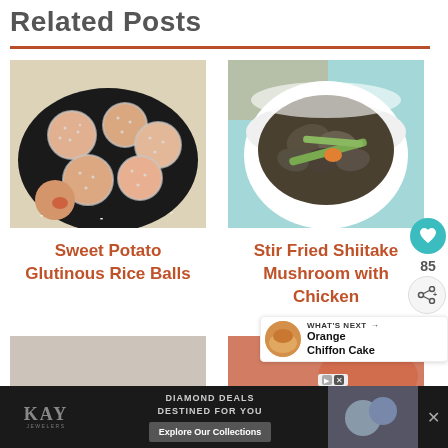Related Posts
[Figure (photo): Sweet potato glutinous rice balls on a black plate]
Sweet Potato Glutinous Rice Balls
[Figure (photo): Stir fried shiitake mushroom with chicken in a white bowl]
Stir Fried Shiitake Mushroom with Chicken
[Figure (photo): Partial view of a third food item]
[Figure (photo): Partial view of a fourth food item with red/orange tones]
[Figure (other): What's Next: Orange Chiffon Cake promotional banner]
[Figure (other): Kay Jewelers diamond deals advertisement banner at bottom]